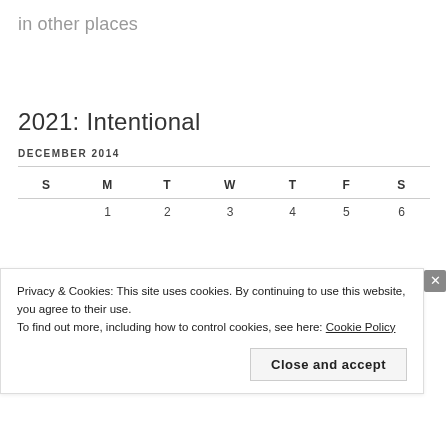in other places
2021: Intentional
DECEMBER 2014
| S | M | T | W | T | F | S |
| --- | --- | --- | --- | --- | --- | --- |
|  | 1 | 2 | 3 | 4 | 5 | 6 |
Privacy & Cookies: This site uses cookies. By continuing to use this website, you agree to their use.
To find out more, including how to control cookies, see here: Cookie Policy
Close and accept